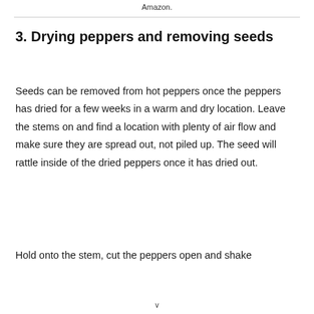Amazon.
3. Drying peppers and removing seeds
Seeds can be removed from hot peppers once the peppers has dried for a few weeks in a warm and dry location. Leave the stems on and find a location with plenty of air flow and make sure they are spread out, not piled up. The seed will rattle inside of the dried peppers once it has dried out.
Hold onto the stem, cut the peppers open and shake